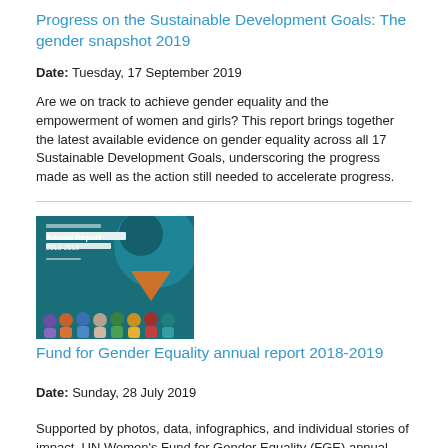Progress on the Sustainable Development Goals: The gender snapshot 2019
Date: Tuesday, 17 September 2019
Are we on track to achieve gender equality and the empowerment of women and girls? This report brings together the latest available evidence on gender equality across all 17 Sustainable Development Goals, underscoring the progress made as well as the action still needed to accelerate progress.
[Figure (illustration): Cover image of the Fund for Gender Equality Annual Report 2018-2019, showing diverse women figures in colorful clothing against a teal background with geometric shapes.]
Fund for Gender Equality annual report 2018-2019
Date: Sunday, 28 July 2019
Supported by photos, data, infographics, and individual stories of impact, UN Women's Fund for Gender Equality (FGE) annual report presents main aggregated results achieved by its 25 active projects. It highlights the process and outcomes of its fourth grant-